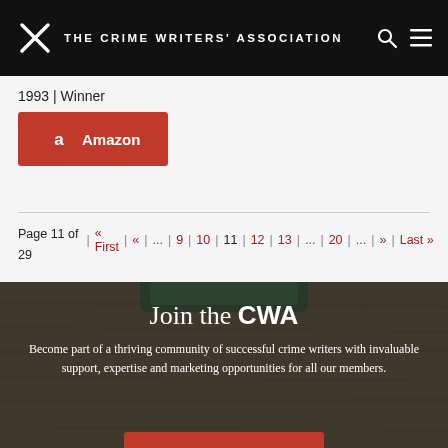THE CRIME WRITERS' ASSOCIATION
1993 | Winner
Amazon
Page 11 of 29  « First  «  ...  9  10  11  12  13  ...  20  ...  »  Last »
Join the CWA
Become part of a thriving community of successful crime writers with invaluable support, expertise and marketing opportunities for all our members.